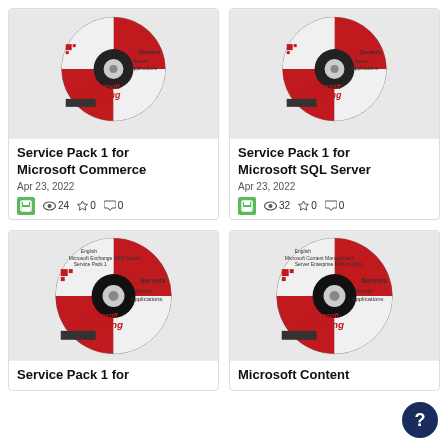[Figure (photo): Microsoft Licensing CD disc for Service Pack 1 for Microsoft Commerce, top-left card image]
Service Pack 1 for Microsoft Commerce
Apr 23, 2022
24 views, 0 stars, 0 comments
[Figure (photo): Microsoft Licensing CD disc for Service Pack 1 for Microsoft SQL Server, top-right card image]
Service Pack 1 for Microsoft SQL Server
Apr 23, 2022
32 views, 0 stars, 0 comments
[Figure (photo): Microsoft Licensing CD disc for Service Pack 1 (Microsoft Exchange 2003 Server), bottom-left card image]
Service Pack 1 for
[Figure (photo): Microsoft Licensing CD disc for Microsoft Content Management Server Enterprise Edition 2001, bottom-right card image]
Microsoft Content